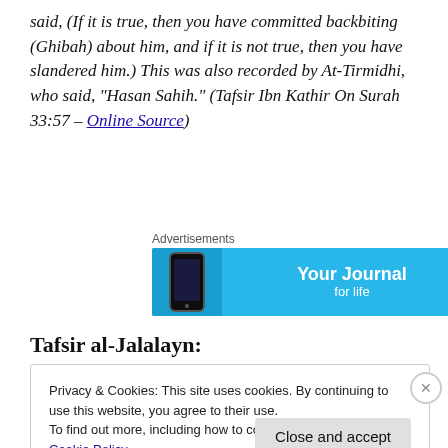said, (If it is true, then you have committed backbiting (Ghibah) about him, and if it is not true, then you have slandered him.) This was also recorded by At-Tirmidhi, who said, “Hasan Sahih.” (Tafsir Ibn Kathir On Surah 33:57 – Online Source)
[Figure (other): Advertisements banner for 'Your Journal for life' app with a phone image and bookmark icon on light blue background]
Tafsir al-Jalalayn:
Privacy & Cookies: This site uses cookies. By continuing to use this website, you agree to their use.
To find out more, including how to control cookies, see here: Cookie Policy
Close and accept